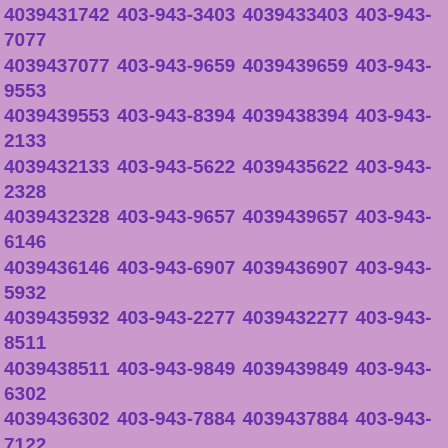4039431742 403-943-3403 4039433403 403-943-7077 4039437077 403-943-9659 4039439659 403-943-9553 4039439553 403-943-8394 4039438394 403-943-2133 4039432133 403-943-5622 4039435622 403-943-2328 4039432328 403-943-9657 4039439657 403-943-6146 4039436146 403-943-6907 4039436907 403-943-5932 4039435932 403-943-2277 4039432277 403-943-8511 4039438511 403-943-9849 4039439849 403-943-6302 4039436302 403-943-7884 4039437884 403-943-7122 4039437122 403-943-1936 4039431936 403-943-0589 4039430589 403-943-9562 4039439562 403-943-2289 4039432289 403-943-3034 4039433034 403-943-6792 4039436792 403-943-3764 4039433764 403-943-5517 4039435517 403-943-9335 4039439335 403-943-1157 4039431157 403-943-6498 4039436498 403-943-7529 4039437529 403-943-3220 4039433220 403-943-1443 4039431443 403-943-7318 4039437318 403-943-8898 4039438898 403-943-4797 4039434797 403-943-0516 4039430516 403-943-2009 4039432009 403-943-9632 4039439632 403-943-1926 4039431926 403-943-1418 4039431418 403-943-7160 4039437160 403-943-6271